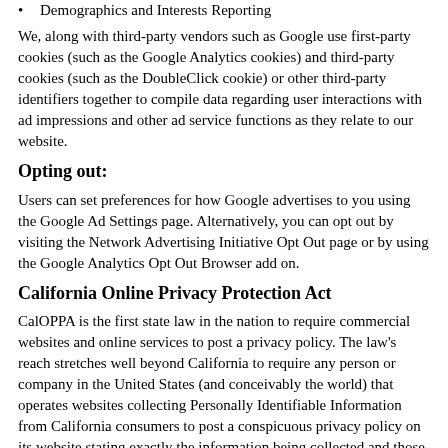Demographics and Interests Reporting
We, along with third-party vendors such as Google use first-party cookies (such as the Google Analytics cookies) and third-party cookies (such as the DoubleClick cookie) or other third-party identifiers together to compile data regarding user interactions with ad impressions and other ad service functions as they relate to our website.
Opting out:
Users can set preferences for how Google advertises to you using the Google Ad Settings page. Alternatively, you can opt out by visiting the Network Advertising Initiative Opt Out page or by using the Google Analytics Opt Out Browser add on.
California Online Privacy Protection Act
CalOPPA is the first state law in the nation to require commercial websites and online services to post a privacy policy. The law's reach stretches well beyond California to require any person or company in the United States (and conceivably the world) that operates websites collecting Personally Identifiable Information from California consumers to post a conspicuous privacy policy on its website stating exactly the information being collected and those individuals or companies with whom it is being shared. - See more at: http://consumercal.org/california-online-privacy-protection-act-caloppa/#sthash.0FdRbT51.dpuf